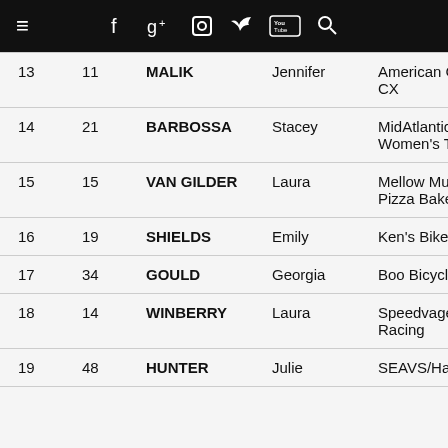Navigation bar with hamburger menu, f, g+, camera, twitter, youtube, search icons
| Pos | # | Last Name | First Name | Team |
| --- | --- | --- | --- | --- |
| 13 | 11 | MALIK | Jennifer | American Classic CX |
| 14 | 21 | BARBOSSA | Stacey | MidAtlantic Colav Women's Te |
| 15 | 15 | VAN GILDER | Laura | Mellow Mushroom Pizza Bakers p/ |
| 16 | 19 | SHIELDS | Emily | Ken's Bike Shop |
| 17 | 34 | GOULD | Georgia | Boo Bicycles |
| 18 | 14 | WINBERRY | Laura | Speedvagen Fam Racing |
| 19 | 48 | HUNTER | Julie | SEAVS/Haymarket |